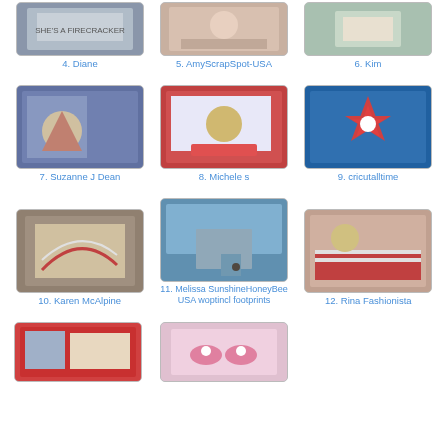[Figure (photo): Thumbnail image 4 - patriotic craft card]
4. Diane
[Figure (photo): Thumbnail image 5 - AmyScrapSpot USA]
5. AmyScrapSpot-USA
[Figure (photo): Thumbnail image 6 - Kim]
6. Kim
[Figure (photo): Thumbnail image 7 - Suzanne J Dean patriotic card]
7. Suzanne J Dean
[Figure (photo): Thumbnail image 8 - Michele s patriotic card]
8. Michele s
[Figure (photo): Thumbnail image 9 - cricutalltime star decoration]
9. cricutalltime
[Figure (photo): Thumbnail image 10 - Karen McAlpine flag artwork]
10. Karen McAlpine
[Figure (photo): Thumbnail image 11 - Melissa SunshineHoneyBee USA woptincl footprints beach scene]
11. Melissa SunshineHoneyBee USA woptincl footprints
[Figure (photo): Thumbnail image 12 - Rina Fashionista patriotic card]
12. Rina Fashionista
[Figure (photo): Thumbnail image 13 - patriotic scene]
[Figure (photo): Thumbnail image 14 - pink craft item]